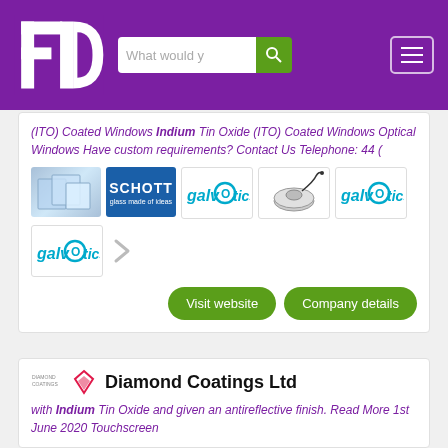FD — What would y [search] [menu]
(ITO) Coated Windows Indium Tin Oxide (ITO) Coated Windows Optical Windows Have custom requirements? Contact Us Telephone: 44 (
[Figure (screenshot): Row of product thumbnails: glass blocks, SCHOTT logo, galvOptics logos, device image, and a right arrow navigation button]
Visit website   Company details
Diamond Coatings Ltd
with Indium Tin Oxide and given an antireflective finish. Read More 1st June 2020 Touchscreen